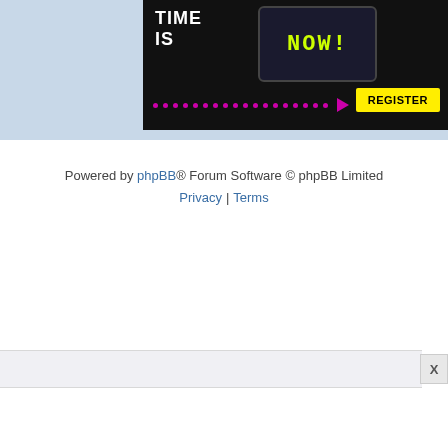[Figure (screenshot): Advertisement banner showing 'TIME IS NOW!' with a digital display and yellow REGISTER button on dark background]
Powered by phpBB® Forum Software © phpBB Limited
Privacy | Terms
[Figure (screenshot): Bottom ad bar with close X button]